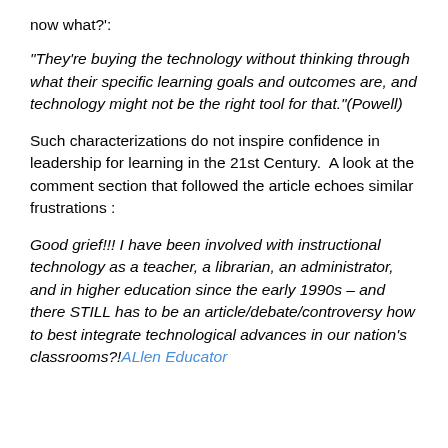now what?':
“They’re buying the technology without thinking through what their specific learning goals and outcomes are, and technology might not be the right tool for that.”(Powell)
Such characterizations do not inspire confidence in leadership for learning in the 21st Century.  A look at the comment section that followed the article echoes similar frustrations :
Good grief!!! I have been involved with instructional technology as a teacher, a librarian, an administrator, and in higher education since the early 1990s – and there STILL has to be an article/debate/controversy how to best integrate technological advances in our nation’s classrooms?!ALlen Educator